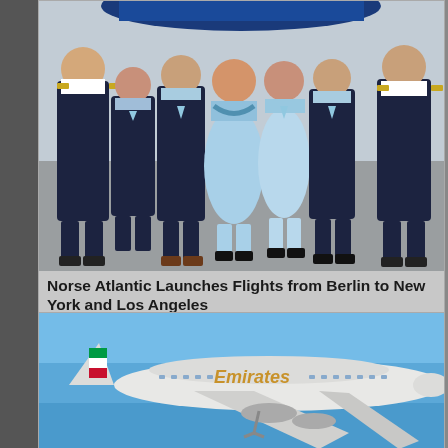[Figure (photo): Group photo of Norse Atlantic Airways crew members — two pilots in dark navy uniforms with gold epaulettes on the left and right, and five cabin crew members in light blue uniforms in the center, standing on an airport tarmac in front of a blue aircraft tail.]
Norse Atlantic Launches Flights from Berlin to New York and Los Angeles
[Figure (photo): Emirates Airbus A380 aircraft in flight against a clear blue sky, showing the distinctive Emirates livery with red, green, and white tail logo and gold 'Emirates' lettering on the fuselage.]